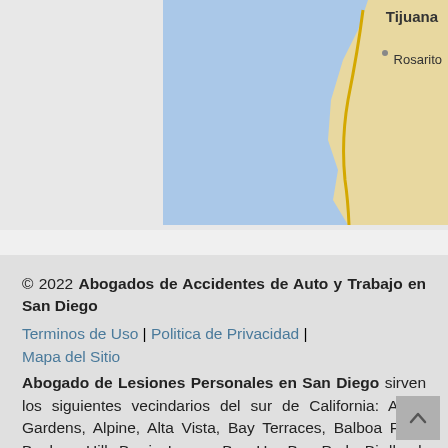[Figure (map): Partial map showing Pacific Ocean (blue) and coastal region near Tijuana and Rosarito, Mexico]
© 2022 Abogados de Accidentes de Auto y Trabajo en San Diego
Terminos de Uso | Politica de Privacidad | Mapa del Sitio
Abogado de Lesiones Personales en San Diego sirven los siguientes vecindarios del sur de California: Allied Gardens, Alpine, Alta Vista, Bay Terraces, Balboa Park, Bankers Hill, Barrio Logan, Bay Ho, Bay Park, Birdland, Black Mountain Ranch, Bonita, Bonsall, Border, Broadway Heights, Burlingame, Cardiff, Carlsbad, Carmel Mountain Ranch,